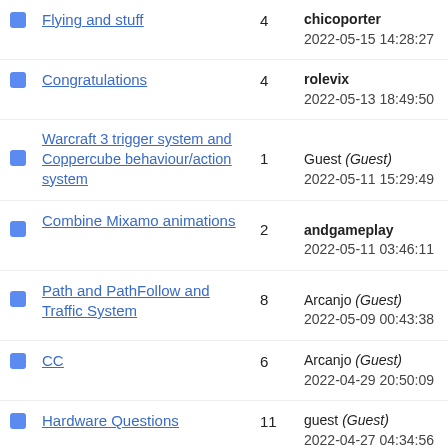Flying and stuff | 4 | chicoporter | 2022-05-15 14:28:27
Congratulations | 4 | rolevix | 2022-05-13 18:49:50
Warcraft 3 trigger system and Coppercube behaviour/action system | 1 | Guest (Guest) | 2022-05-11 15:29:49
Combine Mixamo animations | 2 | andgameplay | 2022-05-11 03:46:11
Path and PathFollow and Traffic System | 8 | Arcanjo (Guest) | 2022-05-09 00:43:38
CC | 6 | Arcanjo (Guest) | 2022-04-29 20:50:09
Hardware Questions | 11 | guest (Guest) | 2022-04-27 04:34:56
Free mech model | 9 | just_in_case (Guest)